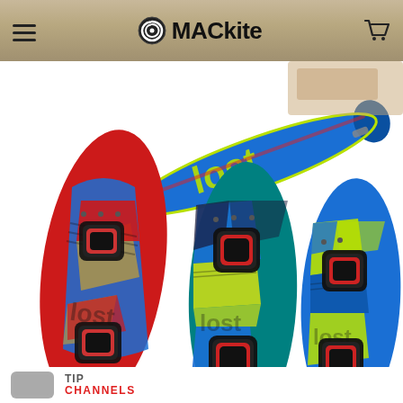MACkite
[Figure (photo): Product page screenshot from MACkite website showing multiple colorful kiteboard/wakeboard products (Ronix boards) displayed from top-down and side angles. Boards feature geometric graphic designs in blue, yellow/green, red, and teal colorways, with bindings attached. A long blue board with yellow-green graphics is shown from the side/angle at top. Three twin-tip boards with bindings are shown below: one red/blue/gold, one teal/blue/yellow, one blue/yellow-green.]
TIP CHANNELS